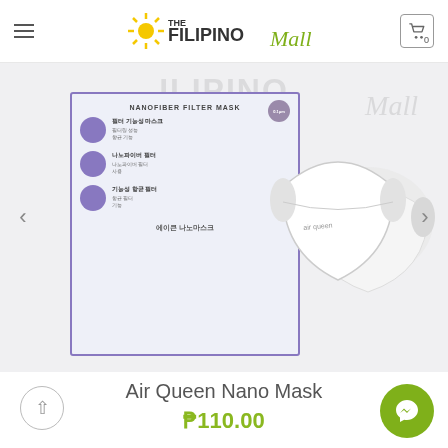The Filipino Mall
[Figure (photo): Product photo of Air Queen Nano Mask — shows a purple-bordered product box with Korean text 'NANOFIBER FILTER MASK' and three purple circular icons with Korean feature descriptions, alongside two white KN95-style face masks on a light background with watermarked logo.]
Air Queen Nano Mask
₱110.00